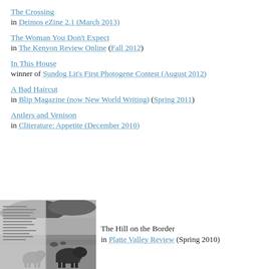The Crossing
in Deimos eZine 2.1 (March 2013)
The Woman You Don't Expect
in The Kenyon Review Online (Fall 2012)
In This House
winner of Sundog Lit's First Photogene Contest (August 2012)
A Bad Haircut
in Blip Magazine (now New World Writing) (Spring 2011)
Antlers and Venison
in Cliterature: Appetite (December 2010)
[Figure (photo): Black and white photo of bison/buffalo grazing on a prairie under a cloudy sky, shown in a magazine layout thumbnail]
The Hill on the Border
in Platte Valley Review (Spring 2010)